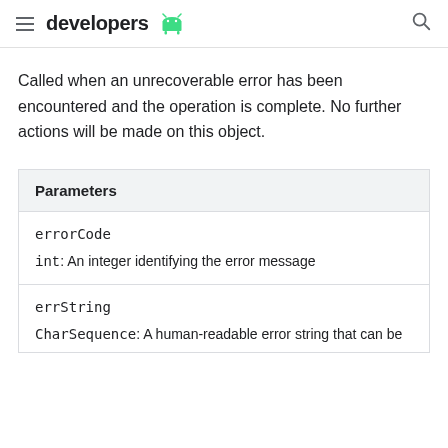developers
Called when an unrecoverable error has been encountered and the operation is complete. No further actions will be made on this object.
| Parameters |
| --- |
| errorCode | int: An integer identifying the error message |
| errString | CharSequence: A human-readable error string that can be |